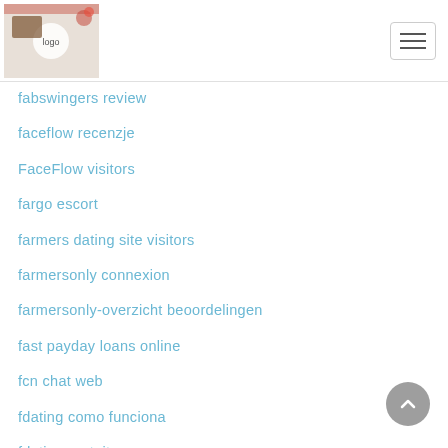Website navigation header with logo and hamburger menu
fabswingers review
faceflow recenzje
FaceFlow visitors
fargo escort
farmers dating site visitors
farmersonly connexion
farmersonly-overzicht beoordelingen
fast payday loans online
fcn chat web
fdating como funciona
fdating gratuit